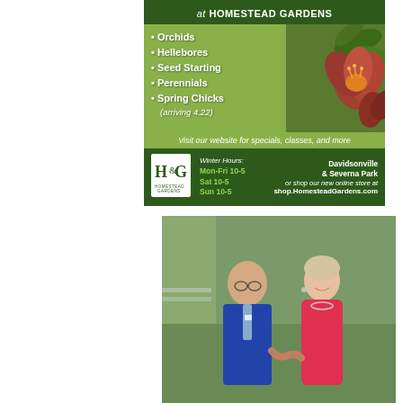[Figure (infographic): Homestead Gardens advertisement featuring flower background with bullet list of seasonal offerings: Orchids, Hellebores, Seed Starting, Perennials, Spring Chicks (arriving 4.22). Tagline: Visit our website for specials, classes, and more. Footer with logo, Winter Hours Mon-Fri 10-5, Sat 10-5, Sun 10-5. Locations: Davidsonville & Severna Park. shop.HomesteadGardens.com]
[Figure (photo): A man in a blue suit and a woman in a red dress smiling and holding hands outdoors]